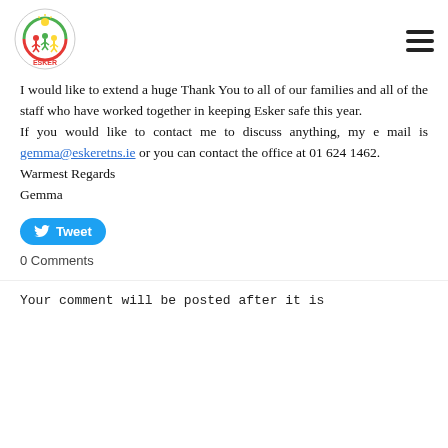[Figure (logo): Esker Educate Together National School circular logo with children figures and sun]
I would like to extend a huge Thank You to all of our families and all of the staff who have worked together in keeping Esker safe this year.
If you would like to contact me to discuss anything, my e mail is gemma@eskeretns.ie or you can contact the office at 01 624 1462.
Warmest Regards
Gemma
[Figure (other): Tweet button with Twitter bird icon]
0 Comments
Your comment will be posted after it is approved.